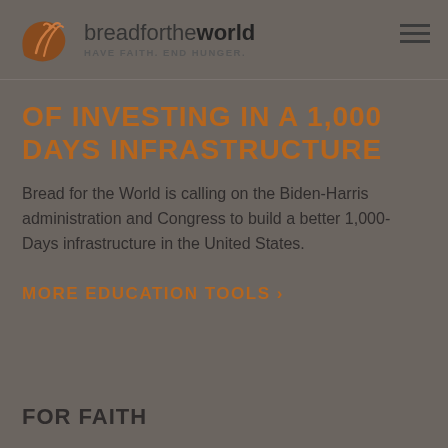bread for the world — HAVE FAITH. END HUNGER.
OF INVESTING IN A 1,000 DAYS INFRASTRUCTURE
Bread for the World is calling on the Biden-Harris administration and Congress to build a better 1,000-Days infrastructure in the United States.
MORE EDUCATION TOOLS >
FOR FAITH